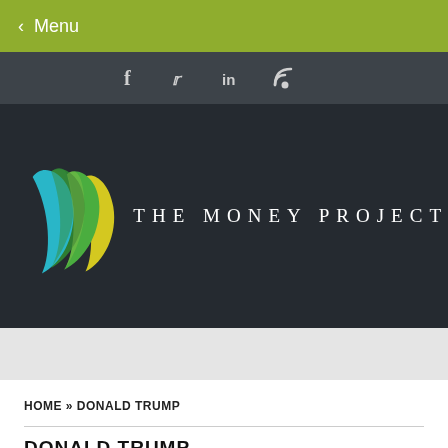< Menu
[Figure (logo): Social media icons bar: f (Facebook), bird (Twitter), in (LinkedIn), RSS feed icon on dark grey background]
[Figure (logo): The Money Project logo: colorful layered geometric icon in teal, green, yellow, and dark green on dark background, with text 'THE MONEY PROJECT' in white spaced letters]
HOME » DONALD TRUMP
DONALD TRUMP